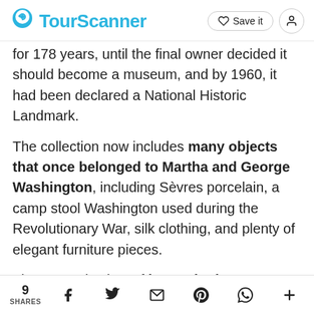TourScanner — Save it
for 178 years, until the final owner decided it should become a museum, and by 1960, it had been declared a National Historic Landmark.
The collection now includes many objects that once belonged to Martha and George Washington, including Sèvres porcelain, a camp stool Washington used during the Revolutionary War, silk clothing, and plenty of elegant furniture pieces.
There are also lots of letters in the collection, including one George wrote to Martha to tell her
9 SHARES